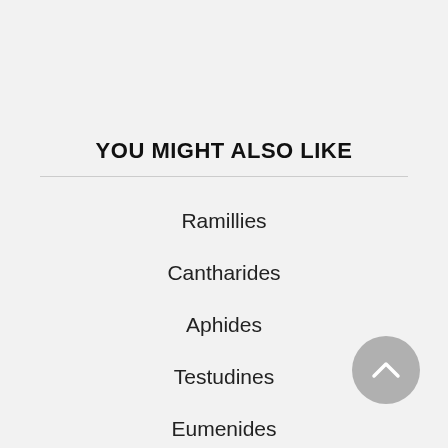YOU MIGHT ALSO LIKE
Ramillies
Cantharides
Aphides
Testudines
Eumenides
Isosceles